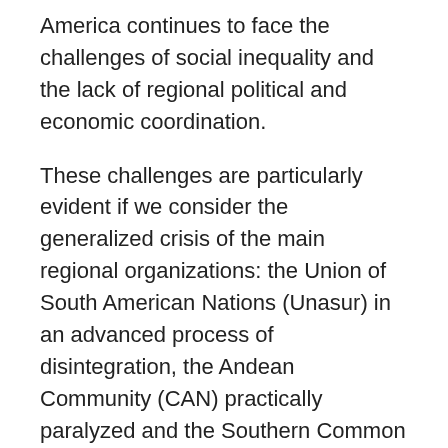America continues to face the challenges of social inequality and the lack of regional political and economic coordination.
These challenges are particularly evident if we consider the generalized crisis of the main regional organizations: the Union of South American Nations (Unasur) in an advanced process of disintegration, the Andean Community (CAN) practically paralyzed and the Southern Common Market (Mercosur) struggling for its survival.
Nevertheless, it must be recognized that all three institutions had the merit of developing migration policies imbued with the universal principles of human rights and the ideals of equality and social justice.